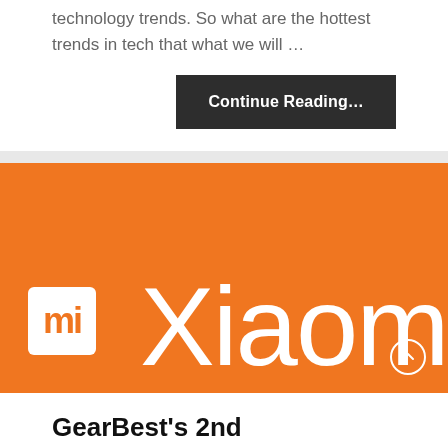technology trends. So what are the hottest trends in tech that what we will …
Continue Reading…
[Figure (logo): Xiaomi brand banner with orange background, MI logo in white box on the left, and 'Xiaomi' wordmark in white thin font on the right]
GearBest's 2nd Anniversary